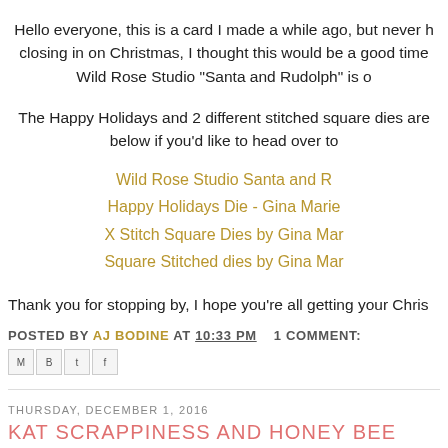Hello everyone, this is a card I made a while ago, but never h closing in on Christmas, I thought this would be a good time Wild Rose Studio "Santa and Rudolph" is o
The Happy Holidays and 2 different stitched square dies are below if you'd like to head over to
Wild Rose Studio Santa and R
Happy Holidays Die - Gina Marie
X Stitch Square Dies by Gina Mar
Square Stitched dies by Gina Mar
Thank you for stopping by, I hope you're all getting your Chris
POSTED BY AJ BODINE AT 10:33 PM   1 COMMENT:
THURSDAY, DECEMBER 1, 2016
KAT SCRAPPINESS AND HONEY BEE STAMPS LITTLE P
[Figure (photo): Partial image at bottom of page, gray toned]